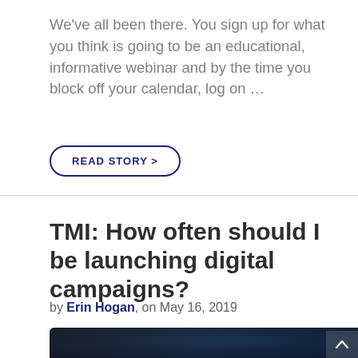We've all been there. You sign up for what you think is going to be an educational, informative webinar and by the time you block off your calendar, log on …
READ STORY >
TMI: How often should I be launching digital campaigns?
by Erin Hogan, on May 16, 2019
[Figure (photo): Dark teal/dark background image partially visible at bottom of page, with a circular icon and bar chart icon visible]